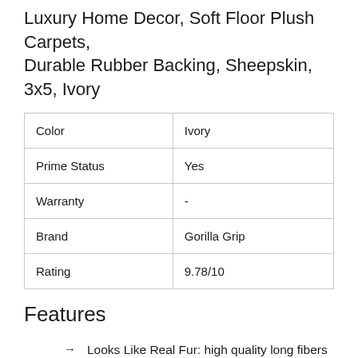Luxury Home Decor, Soft Floor Plush Carpets, Durable Rubber Backing, Sheepskin, 3x5, Ivory
| Color | Ivory |
| Prime Status | Yes |
| Warranty | - |
| Brand | Gorilla Grip |
| Rating | 9.78/10 |
Features
Looks Like Real Fur: high quality long fibers emulate the look and warmth of real fur, but are one hundred percent